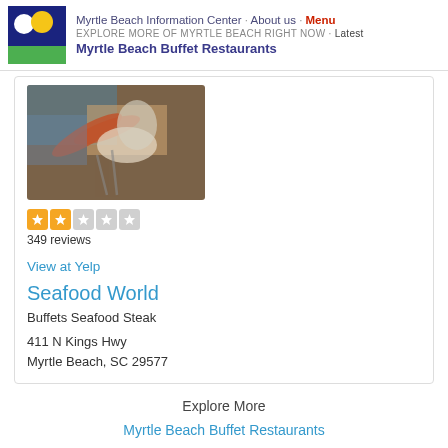Myrtle Beach Information Center · About us · Menu
EXPLORE MORE OF MYRTLE BEACH RIGHT NOW · Latest
Myrtle Beach Buffet Restaurants
[Figure (photo): Seafood restaurant food photo showing crab legs and seafood items on blue background]
349 reviews
View at Yelp
Seafood World
Buffets Seafood Steak
411 N Kings Hwy
Myrtle Beach, SC 29577
Explore More
Myrtle Beach Buffet Restaurants
[Figure (logo): Yelp logo with red asterisk flower icon]